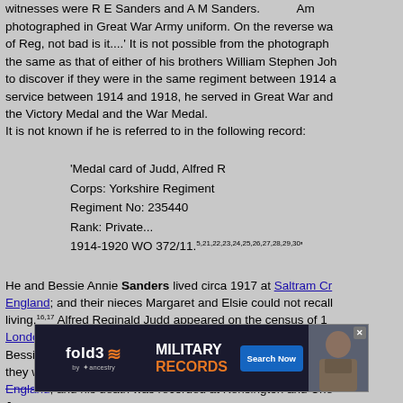witnesses were R E Sanders and A M Sanders. ... Am photographed in Great War Army uniform. On the reverse wa of Reg, not bad is it....' It is not possible from the photograph the same as that of either of his brothers William Stephen Joh to discover if they were in the same regiment between 1914 a service between 1914 and 1918, he served in Great War and the Victory Medal and the War Medal.
It is not known if he is referred to in the following record:
'Medal card of Judd, Alfred R
Corps: Yorkshire Regiment
Regiment No: 235440
Rank: Private...
1914-1920 WO 372/11.5,21,22,23,24,25,26,27,28,29,30'
He and Bessie Annie Sanders lived circa 1917 at Saltram Cr England; and their nieces Margaret and Elsie could not recall living.16,17 Alfred Reginald Judd appeared on the census of 1 London, England, as Alfred Reginald Judd, born at London, B Bessie Annie Sanders lived on 29 September 1939 at Willes they were recorded on the 1939 Register.32 Alfred Reginald England; and his death was recorded at Kensington and Che June qu...
[Figure (other): fold3 Military Records advertisement banner with ancestry logo, Search Now button, and soldier photo]